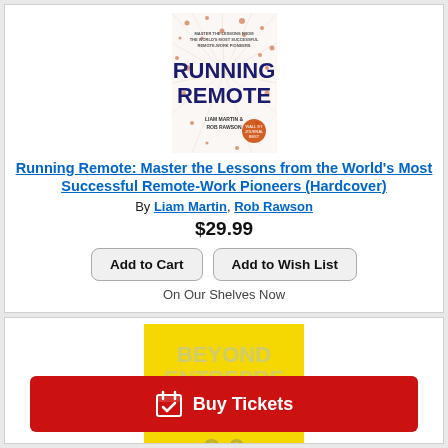[Figure (photo): Book cover of Running Remote by Liam Martin and Rob Rawson. White/red/orange cover with network dot pattern and bold title 'Running Remote'.]
Running Remote: Master the Lessons from the World's Most Successful Remote-Work Pioneers (Hardcover)
By Liam Martin, Rob Rawson
$29.99
Add to Cart
Add to Wish List
On Our Shelves Now
[Figure (photo): Partial book cover visible - yellow background with text 'BEYOND ENTERPRISE BE...' by Jim Collins]
Buy Tickets
JIM COLLINS